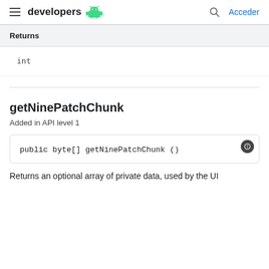developers  Acceder
| Returns |
| --- |
| int |
getNinePatchChunk
Added in API level 1
public byte[] getNinePatchChunk ()
Returns an optional array of private data, used by the UI